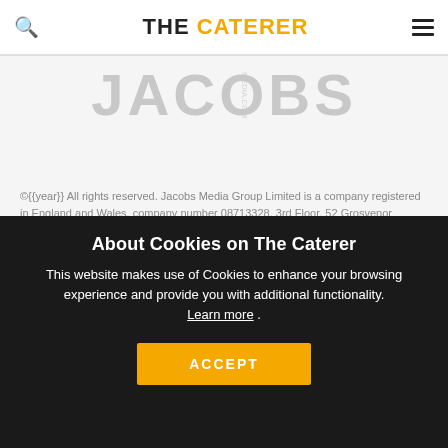THE CATERER
[Figure (logo): Jacobs Media Group logo in large grey uppercase letters]
©{{year}} All rights reserved. Jacobs Media Group Limited is a company registered in England and Wales, company number 08713328. 3rd Floor, 52 Grosvenor Gardens, London SW1W 0AU.
[Figure (logo): Partner logos: aspire, TRAVEL WEEKLY, connections]
About Cookies on The Caterer
This website makes use of Cookies to enhance your browsing experience and provide you with additional functionality. Learn more .
ACCEPT